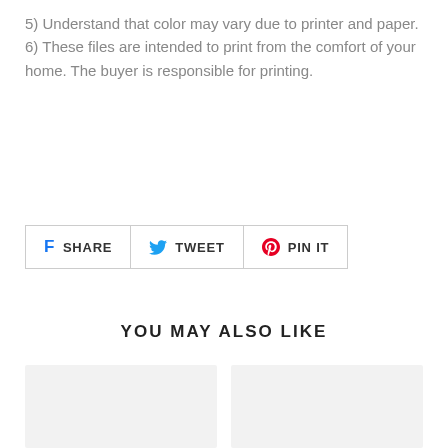5) Understand that color may vary due to printer and paper.
6) These files are intended to print from the comfort of your home. The buyer is responsible for printing.
[Figure (screenshot): Social share buttons: SHARE (Facebook), TWEET (Twitter), PIN IT (Pinterest)]
YOU MAY ALSO LIKE
[Figure (other): Two product card placeholders side by side with light gray background]